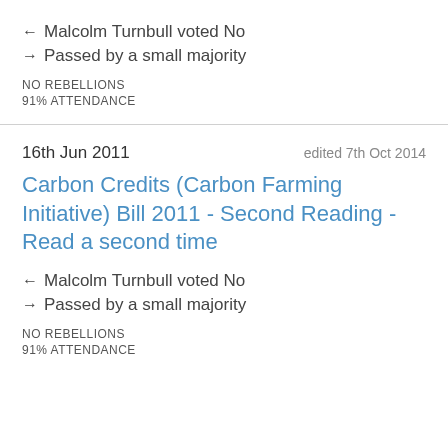← Malcolm Turnbull voted No
→ Passed by a small majority
NO REBELLIONS
91% ATTENDANCE
16th Jun 2011    edited 7th Oct 2014
Carbon Credits (Carbon Farming Initiative) Bill 2011 - Second Reading - Read a second time
← Malcolm Turnbull voted No
→ Passed by a small majority
NO REBELLIONS
91% ATTENDANCE